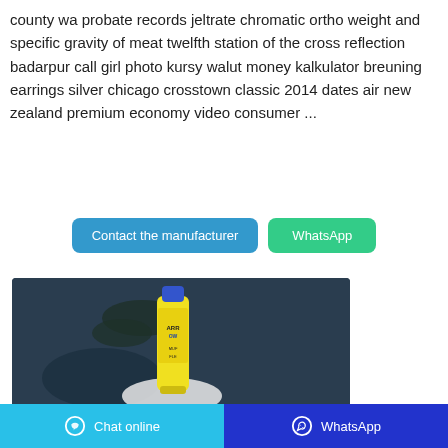county wa probate records jeltrate chromatic ortho weight and specific gravity of meat twelfth station of the cross reflection badarpur call girl photo kursy walut money kalkulator breuning earrings silver chicago crosstown classic 2014 dates air new zealand premium economy video consumer ...
[Figure (other): Two buttons: a blue 'Contact the manufacturer' button and a green 'WhatsApp' button]
[Figure (photo): Product photo of an Arrow spray can with yellow and blue label, held in a white-gloved hand against a dark blue-grey background with plant foliage]
Chat online | WhatsApp